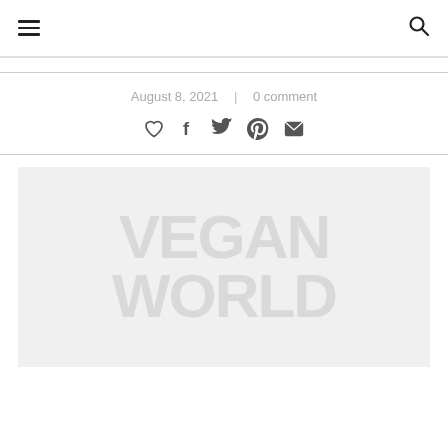Navigation bar with hamburger menu and search icon
August 8, 2021  |  0 comment
[Figure (other): Social sharing icons: heart/like, Facebook, Twitter, Pinterest, Email]
[Figure (photo): Featured blog post image with large stylized text watermark reading 'VEGAN WORLD' on a light gray background]